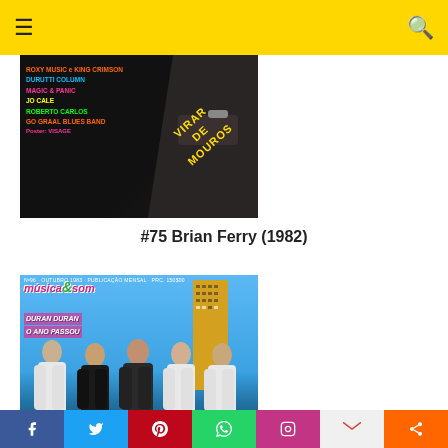Navigation header with menu and search icons
[Figure (photo): Magazine cover with dark background showing colored text: ROXY MUSIC e KING CRIMSON, DURUTTI COLUMN, MAGIC & PANIC, JO CALE, ROBERTO CARLOS, GO GRAAL BLUES BAND, Poster: VISAGE, with diagonal yellow text overlay reading VIRAR DE MOUROS]
#75 Brian Ferry (1982)
[Figure (photo): Magazine cover of Música & Som featuring Duran Duran - O Ano Passou, showing band members standing in front of a city skyline with a golden skyscraper]
Social share bar: Facebook, Twitter, Pinterest, WhatsApp, Instagram, Gmail, Share